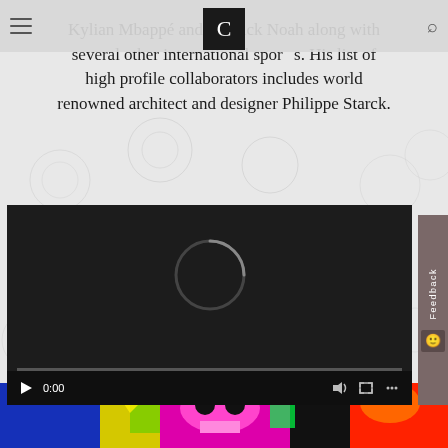1/5
Kylian Mbappé and Yannick Noah along with several other international sports. His list of high profile collaborators includes world renowned architect and designer Philippe Starck.
[Figure (screenshot): A video player with dark background showing a loading spinner, play button, 0:00 timestamp, and playback controls at the bottom. A feedback sidebar appears on the right side.]
[Figure (photo): Colorful graffiti art showing psychedelic skull-like imagery in bright neon colors - blue, yellow, green, pink, and black.]